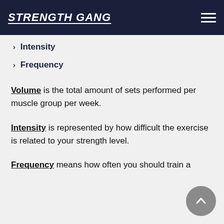STRENGTH GANG
Intensity
Frequency
Volume is the total amount of sets performed per muscle group per week.
Intensity is represented by how difficult the exercise is related to your strength level.
Frequency means how often you should train a particular muscle group.